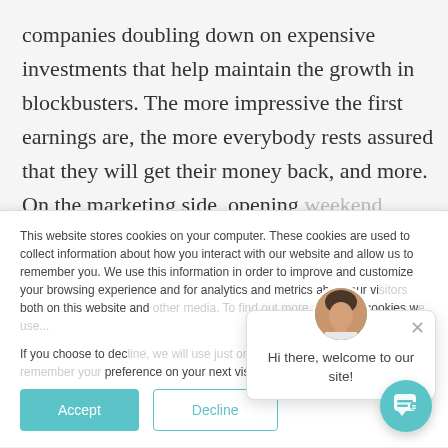companies doubling down on expensive investments that help maintain the growth in blockbusters. The more impressive the first earnings are, the more everybody rests assured that they will get their money back, and more. On the marketing side, opening weekend earnings immediately become an argument
This website stores cookies on your computer. These cookies are used to collect information about how you interact with our website and allow us to remember you. We use this information in order to improve and customize your browsing experience and for analytics and metrics about our visitors both on this website and other media. To find out more about the cookies we use...
If you choose to decline, we will use just one cookie, allowing us to remember your preference on your next visits to our site.
Hi there, welcome to our site!
Accept
Decline